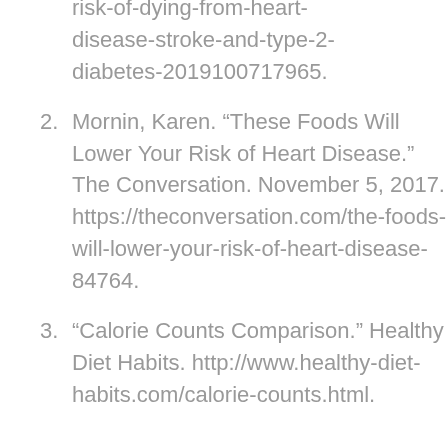risk-of-dying-from-heart-disease-stroke-and-type-2-diabetes-2019100717965.
2. Mornin, Karen. “These Foods Will Lower Your Risk of Heart Disease.” The Conversation. November 5, 2017. https://theconversation.com/the-foods-will-lower-your-risk-of-heart-disease-84764.
3. “Calorie Counts Comparison.” Healthy Diet Habits. http://www.healthy-diet-habits.com/calorie-counts.html.